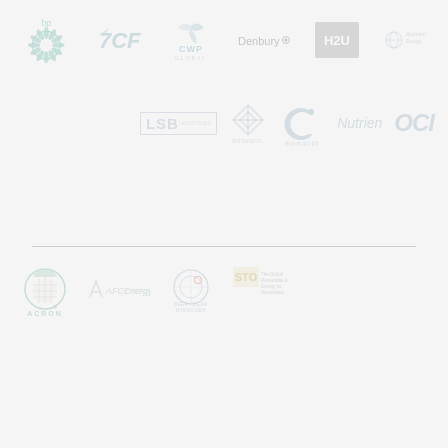[Figure (logo): BP green sunflower logo with 'bp' text above]
[Figure (logo): 7CF logo with stylized arrow and CF text]
[Figure (logo): CWP Global logo with leaf/fan icon]
[Figure (logo): Denbury logo with small circle icon]
[Figure (logo): H2U Technologies logo on grey square]
[Figure (logo): Environmental Energy small logo]
[Figure (logo): LSB Industries logo in rectangular border]
[Figure (logo): Mitsui & Co. diamond geometric logo]
[Figure (logo): Monolith circular logo with dot]
[Figure (logo): Nutrien logo in blue-grey italic]
[Figure (logo): OCI logo large italic bold]
[Figure (logo): Acron circular logo with grid pattern]
[Figure (logo): AFC Energy logo]
[Figure (logo): Beer Clean Hydrogen circular logo]
[Figure (logo): STO/financial energy company small logo]